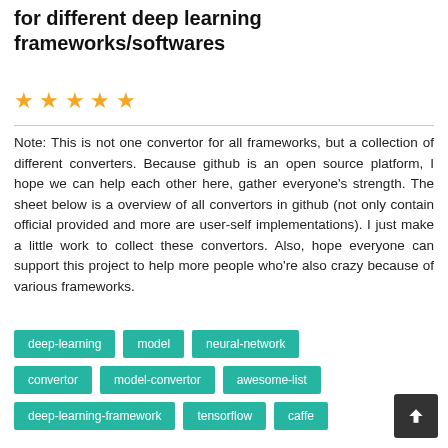for different deep learning frameworks/softwares
Note: This is not one convertor for all frameworks, but a collection of different converters. Because github is an open source platform, I hope we can help each other here, gather everyone's strength. The sheet below is a overview of all convertors in github (not only contain official provided and more are user-self implementations). I just make a little work to collect these convertors. Also, hope everyone can support this project to help more people who're also crazy because of various frameworks.
deep-learning
model
neural-network
convertor
model-convertor
awesome-list
deep-learning-framework
tensorflow
caffe